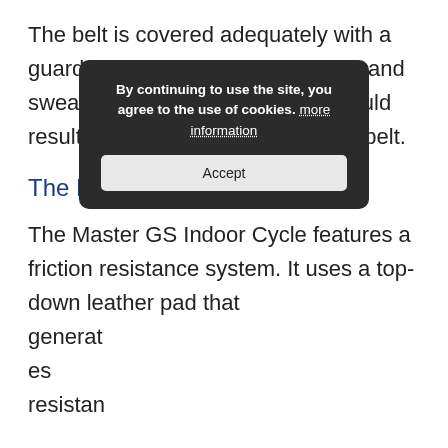The belt is covered adequately with a guard to protect your feet, clothes, and sweat from making contact that could result in premature damage to the belt.
The Resistance
The Master GS Indoor Cycle features a friction resistance system. It uses a top-down leather pad that generates resistan
[Figure (other): Cookie consent banner overlay with dark background, text 'By continuing to use the site, you agree to the use of cookies. more information' and an Accept button.]